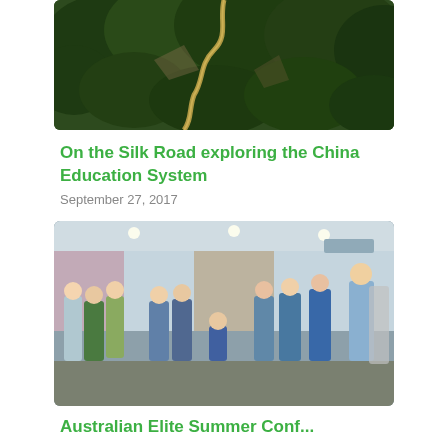[Figure (photo): Aerial view of a winding road through dense green mountains, likely the Great Wall of China area]
On the Silk Road exploring the China Education System
September 27, 2017
[Figure (photo): Group of people standing in a modern conference room, listening to a presenter on the right side]
Australian Elite Summer Conf...